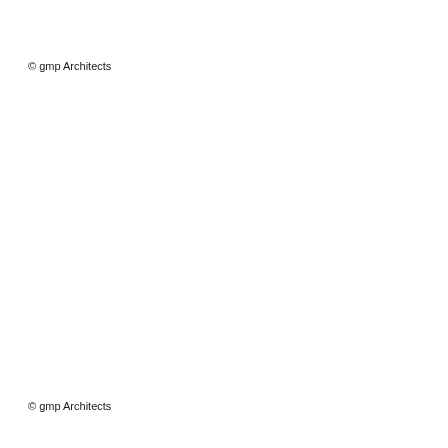© gmp Architects
© gmp Architects